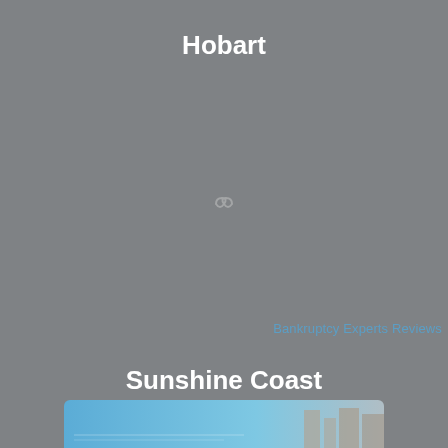Hobart
[Figure (other): Loading spinner icon in the center of a gray background]
Bankruptcy Experts Reviews
Sunshine Coast
[Figure (photo): Partial bottom image strip with blue gradient and building silhouette]